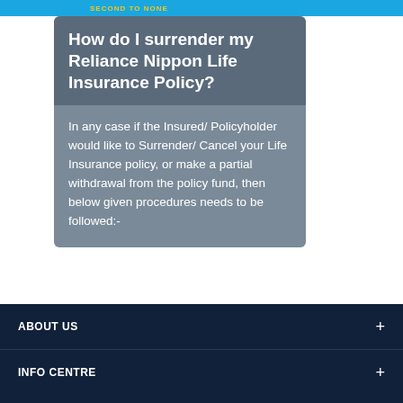SECOND TO NONE
How do I surrender my Reliance Nippon Life Insurance Policy?
In any case if the Insured/ Policyholder would like to Surrender/ Cancel your Life Insurance policy, or make a partial withdrawal from the policy fund, then below given procedures needs to be followed:-
ABOUT US
INFO CENTRE